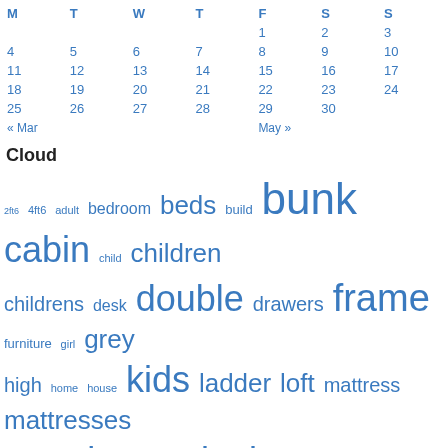| M | T | W | T | F | S | S |
| --- | --- | --- | --- | --- | --- | --- |
|  |  |  |  | 1 | 2 | 3 |
| 4 | 5 | 6 | 7 | 8 | 9 | 10 |
| 11 | 12 | 13 | 14 | 15 | 16 | 17 |
| 18 | 19 | 20 | 21 | 22 | 23 | 24 |
| 25 | 26 | 27 | 28 | 29 | 30 |  |
« Mar   May »
Cloud
2ft6 4ft6 adult bedroom beds build bunk cabin child children childrens desk double drawers frame furniture girl grey high home house kids ladder loft mattress mattresses modern pine shorty single size sleeper slide small solid stairs storage treehouse triple trundle twin white wood wooden youth